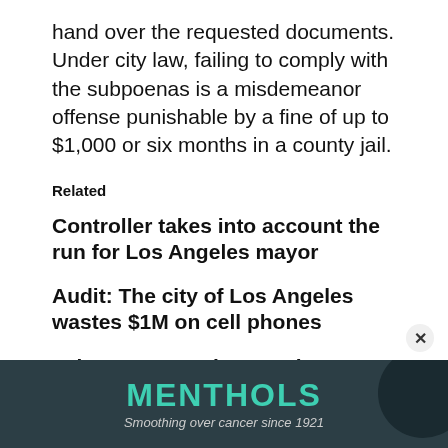hand over the requested documents. Under city law, failing to comply with the subpoenas is a misdemeanor offense punishable by a fine of up to $1,000 or six months in a county jail.
Related
Controller takes into account the run for Los Angeles mayor
Audit: The city of Los Angeles wastes $1M on cell phones
Labor group endorses City Controller Wendy Greuel for mayor
[Figure (other): Advertisement banner for MENTHOLS with tagline 'Smoothing over cancer since 1921' on dark teal/grey background]